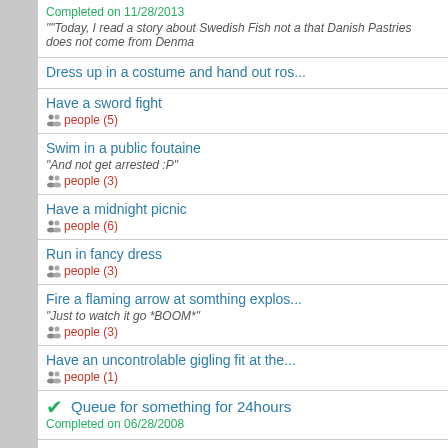Completed on 11/28/2013
""Today, I read a story about Swedish Fish not a... that Danish Pastries does not come from Denma...
Dress up in a costume and hand out ros...
Have a sword fight
people (5)
Swim in a public foutaine
"And not get arrested :P"
people (3)
Have a midnight picnic
people (6)
Run in fancy dress
people (3)
Fire a flaming arrow at somthing explos...
"Just to watch it go *BOOM*"
people (3)
Have an uncontrolable gigling fit at the...
people (1)
Queue for something for 24hours
Completed on 06/28/2008